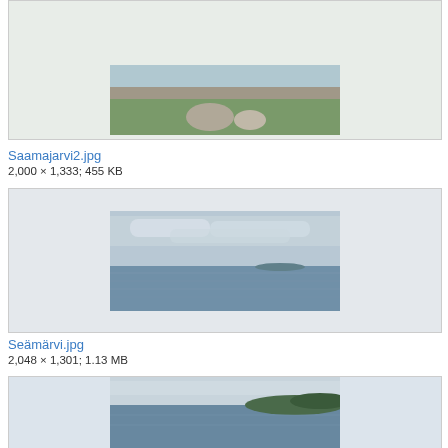[Figure (photo): Partial top image showing grassy area with person and rocks, cropped at top of page]
Saamajarvi2.jpg
2,000 × 1,333; 455 KB
[Figure (photo): Lake scene with cloudy sky and calm water, wide angle shot]
Seämärvi.jpg
2,048 × 1,301; 1.13 MB
[Figure (photo): Lake with forested shoreline visible, partially cropped at bottom of page]